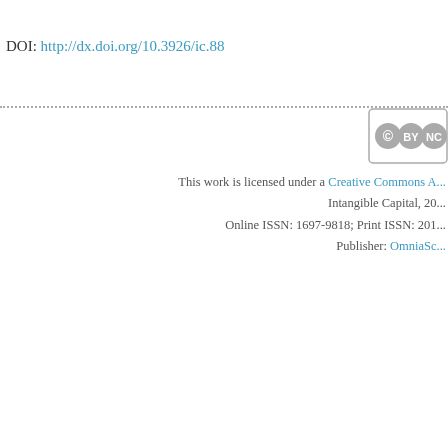DOI: http://dx.doi.org/10.3926/ic.88
[Figure (logo): Creative Commons BY-NC license badge]
This work is licensed under a Creative Commons A... Intangible Capital, 20... Online ISSN: 1697-9818; Print ISSN: 201... Publisher: OmniaSc...